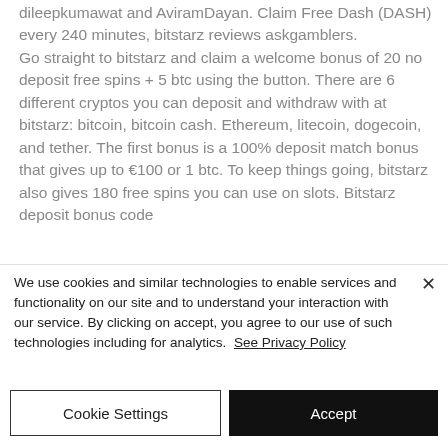dileepkumawat and AviramDayan. Claim Free Dash (DASH) every 240 minutes, bitstarz reviews askgamblers. Go straight to bitstarz and claim a welcome bonus of 20 no deposit free spins + 5 btc using the button. There are 6 different cryptos you can deposit and withdraw with at bitstarz: bitcoin, bitcoin cash. Ethereum, litecoin, dogecoin, and tether. The first bonus is a 100% deposit match bonus that gives up to €100 or 1 btc. To keep things going, bitstarz also gives 180 free spins you can use on slots. Bitstarz deposit bonus code
We use cookies and similar technologies to enable services and functionality on our site and to understand your interaction with our service. By clicking on accept, you agree to our use of such technologies including for analytics. See Privacy Policy
Cookie Settings
Accept